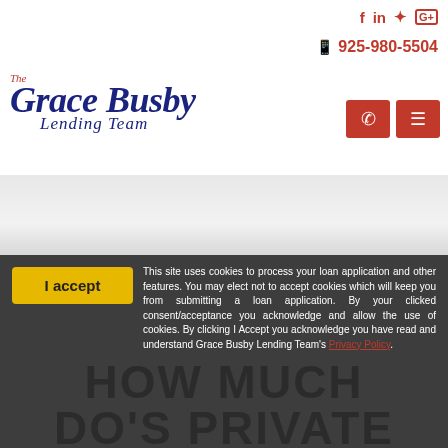Social icons: f in yelp G+
925-980-5504
[Figure (logo): The Grace Busby Lending Team logo in navy blue cursive script with red accent text]
[Figure (other): Red navigation buttons: phone and hamburger menu]
[Figure (photo): Hero image area showing light gray background section]
I accept | This site uses cookies to process your loan application and other features. You may elect not to accept cookies which will keep you from submitting a loan application. By your clicked consent/acceptance you acknowledge and allow the use of cookies. By clicking I Accept you acknowledge you have read and understand Grace Busby Lending Team's Privacy Policy.
HOW MUCH DO'S PRIVATE MORTGAGE